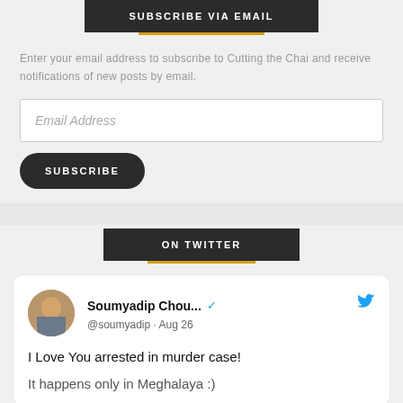SUBSCRIBE VIA EMAIL
Enter your email address to subscribe to Cutting the Chai and receive notifications of new posts by email.
Email Address
SUBSCRIBE
ON TWITTER
Soumyadip Chou... @soumyadip · Aug 26
I Love You arrested in murder case!

It happens only in Meghalaya :)